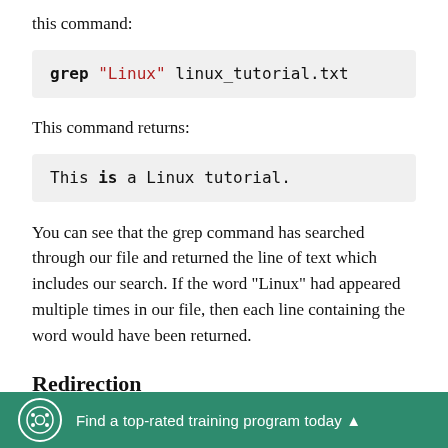this command:
grep "Linux" linux_tutorial.txt
This command returns:
This is a Linux tutorial.
You can see that the grep command has searched through our file and returned the line of text which includes our search. If the word “Linux” had appeared multiple times in our file, then each line containing the word would have been returned.
Redirection
Find a top-rated training program today ▲